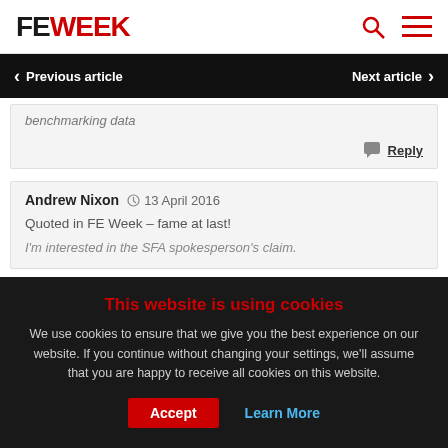FE WEEK
Previous article   Next article
benchmarking data
Reply
Andrew Nixon   13 April 2016
Quoted in FE Week – fame at last!
I'm interested in the SFA spokesperson's claim. qualification type, ag... level – This is categorically not true. If I look at the "Qualification Type" section, I can filter by age level, I can filter by Qualification Type and
This website is using cookies
We use cookies to ensure that we give you the best experience on our website. If you continue without changing your settings, we'll assume that you are happy to receive all cookies on this website.
Accept   Learn More